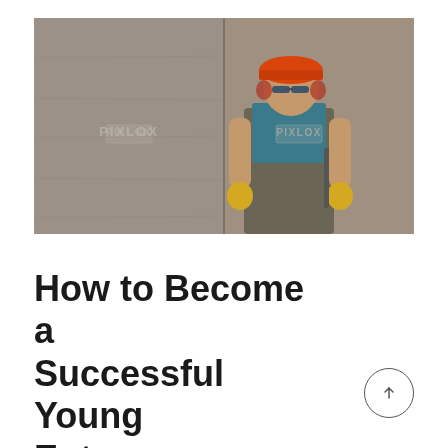[Figure (photo): A construction worker wearing an orange hard hat, blue shirt, work overalls, yellow gloves, and sunglasses, standing in front of a concrete wall with watermark text 'PIXLOX' visible. The photo is landscape orientation, slightly desaturated.]
How to Become a Successful Young Entrepreneur